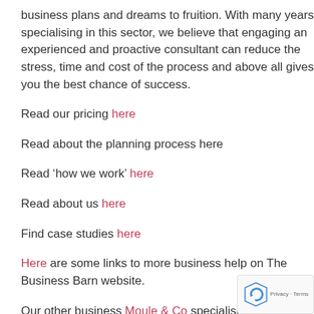business plans and dreams to fruition. With many years specialising in this sector, we believe that engaging an experienced and proactive consultant can reduce the stress, time and cost of the process and above all gives you the best chance of success.
Read our pricing here
Read about the planning process here
Read ‘how we work’ here
Read about us here
Find case studies here
Here are some links to more business help on The Business Barn website.
Our other business Moule & Co specialises in rural professional consultancy and can help with grants